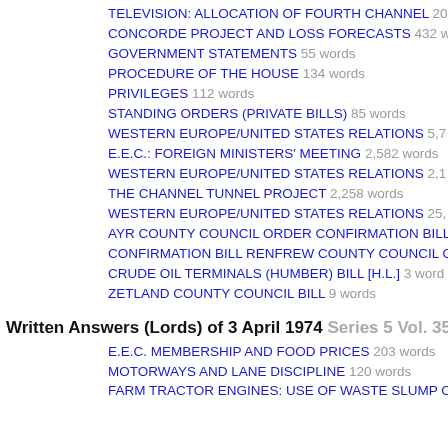TELEVISION: ALLOCATION OF FOURTH CHANNEL 20...
CONCORDE PROJECT AND LOSS FORECASTS 432 w...
GOVERNMENT STATEMENTS 55 words
PROCEDURE OF THE HOUSE 134 words
PRIVILEGES 112 words
STANDING ORDERS (PRIVATE BILLS) 85 words
WESTERN EUROPE/UNITED STATES RELATIONS 5,7...
E.E.C.: FOREIGN MINISTERS' MEETING 2,582 words
WESTERN EUROPE/UNITED STATES RELATIONS 2,1...
THE CHANNEL TUNNEL PROJECT 2,258 words
WESTERN EUROPE/UNITED STATES RELATIONS 25,...
AYR COUNTY COUNCIL ORDER CONFIRMATION BILL...
CONFIRMATION BILL RENFREW COUNTY COUNCIL O...
CRUDE OIL TERMINALS (HUMBER) BILL [H.L.] 3 word...
ZETLAND COUNTY COUNCIL BILL 9 words
Written Answers (Lords) of 3 April 1974 Series 5 Vol. 35
E.E.C. MEMBERSHIP AND FOOD PRICES 203 words
MOTORWAYS AND LANE DISCIPLINE 120 words
FARM TRACTOR ENGINES: USE OF WASTE SLUMP O...